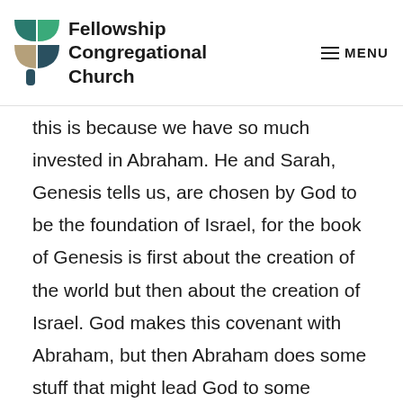Fellowship Congregational Church
this is because we have so much invested in Abraham. He and Sarah, Genesis tells us, are chosen by God to be the foundation of Israel, for the book of Genesis is first about the creation of the world but then about the creation of Israel. God makes this covenant with Abraham, but then Abraham does some stuff that might lead God to some buyer's remorse. He does not always act justly. He does not make moral choices. He shows himself, at times, to have as much or more